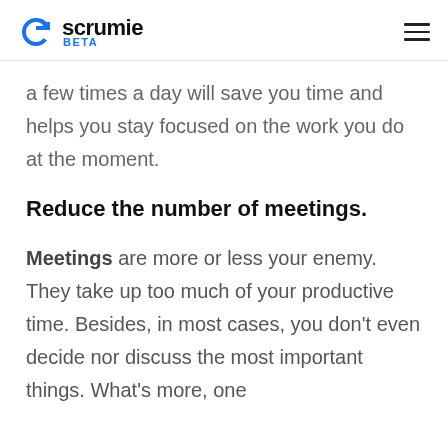scrumie BETA
a few times a day will save you time and helps you stay focused on the work you do at the moment.
Reduce the number of meetings.
Meetings are more or less your enemy. They take up too much of your productive time. Besides, in most cases, you don't even decide nor discuss the most important things. What's more, one